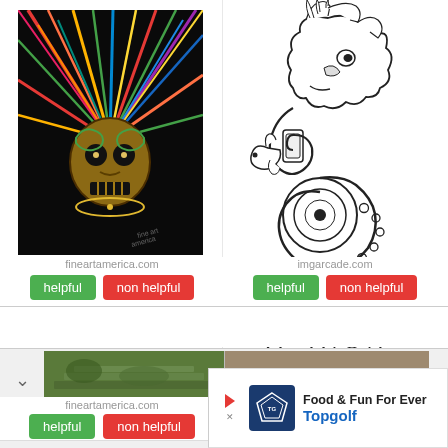[Figure (illustration): Colorful Aztec warrior mask with elaborate feathered headdress on black background, digital art]
fineartamerica.com
helpful  non helpful
[Figure (illustration): Black and white line drawing of a Mayan/Aztec deity figure with intricate scrollwork and serpentine body, profile view]
imgarcade.com
helpful  non helpful
[Figure (photo): Partially visible thumbnail of stone ruins or archaeological site]
[Figure (screenshot): Partially visible thumbnail with watermark text: Please visit 3dcaps.com for full image]
[Figure (other): Topgolf advertisement banner: Food & Fun For Every... Topgolf logo with play button icon]